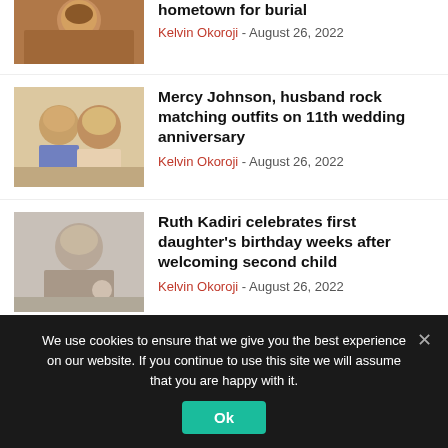[Figure (photo): Partial photo of a woman with traditional attire and earrings, cropped at top]
hometown for burial
Kelvin Okoroji - August 26, 2022
[Figure (photo): Photo of Mercy Johnson and husband in matching outfits]
Mercy Johnson, husband rock matching outfits on 11th wedding anniversary
Kelvin Okoroji - August 26, 2022
[Figure (photo): Photo of Ruth Kadiri smiling]
Ruth Kadiri celebrates first daughter's birthday weeks after welcoming second child
Kelvin Okoroji - August 26, 2022
We use cookies to ensure that we give you the best experience on our website. If you continue to use this site we will assume that you are happy with it.